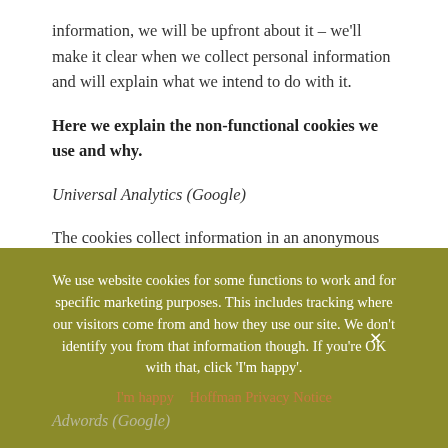information, we will be upfront about it – we'll make it clear when we collect personal information and will explain what we intend to do with it.
Here we explain the non-functional cookies we use and why.
Universal Analytics (Google)
The cookies collect information in an anonymous form, including the number of visitors to our websites, where visitors have come to the sites from and the pages they visited. We use the information to help us improve the website and to see whether we have been mentioned in articles or on referring sites that we advertise on, such as the Church of Scotland magazine dates
Adwords (Google)
We use website cookies for some functions to work and for specific marketing purposes. This includes tracking where our visitors come from and how they use our site. We don't identify you from that information though. If you're OK with that, click 'I'm happy'.
I'm happy   Hoffman Privacy Notice